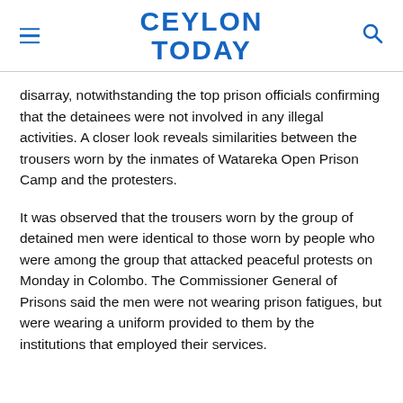CEYLON TODAY
disarray, notwithstanding the top prison officials confirming that the detainees were not involved in any illegal activities. A closer look reveals similarities between the trousers worn by the inmates of Watareka Open Prison Camp and the protesters.
It was observed that the trousers worn by the group of detained men were identical to those worn by people who were among the group that attacked peaceful protests on Monday in Colombo. The Commissioner General of Prisons said the men were not wearing prison fatigues, but were wearing a uniform provided to them by the institutions that employed their services.